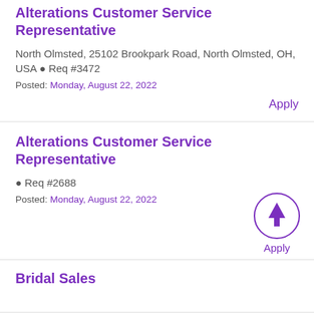Alterations Customer Service Representative
North Olmsted, 25102 Brookpark Road, North Olmsted, OH, USA • Req #3472
Posted: Monday, August 22, 2022
Apply
Alterations Customer Service Representative
• Req #2688
Posted: Monday, August 22, 2022
Apply
Bridal Sales